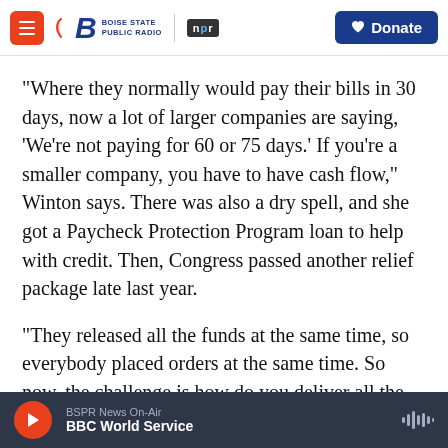Boise State Public Radio | NPR | Donate
"Where they normally would pay their bills in 30 days, now a lot of larger companies are saying, 'We're not paying for 60 or 75 days.' If you're a smaller company, you have to have cash flow," Winton says. There was also a dry spell, and she got a Paycheck Protection Program loan to help with credit. Then, Congress passed another relief package late last year.
"They released all the funds at the same time, so everybody placed orders at the same time. So now, the challenge is how do you deliver all the orders
BSPR News On-Air | BBC World Service